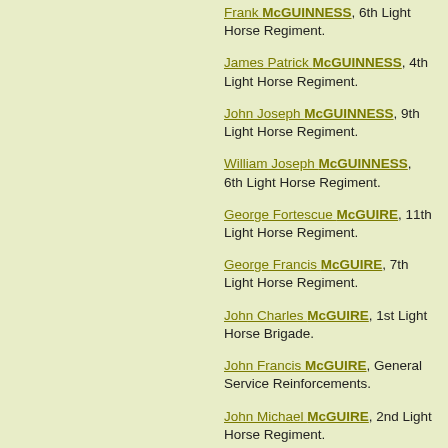Frank McGUINNESS, 6th Light Horse Regiment.
James Patrick McGUINNESS, 4th Light Horse Regiment.
John Joseph McGUINNESS, 9th Light Horse Regiment.
William Joseph McGUINNESS, 6th Light Horse Regiment.
George Fortescue McGUIRE, 11th Light Horse Regiment.
George Francis McGUIRE, 7th Light Horse Regiment.
John Charles McGUIRE, 1st Light Horse Brigade.
John Francis McGUIRE, General Service Reinforcements.
John Michael McGUIRE, 2nd Light Horse Regiment.
Roy Louis McGUIRE, General Service Reinforcements.